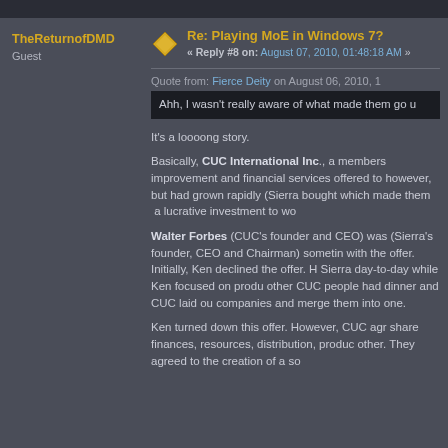TheReturnofDMD
Guest
Re: Playing MoE in Windows 7?
« Reply #8 on: August 07, 2010, 01:48:18 AM »
Quote from: Fierce Deity on August 06, 2010, 1
Ahh, I wasn't really aware of what made them go u
It's a loooong story.
Basically, CUC International Inc., a members improvement and financial services offered to however, but had grown rapidly (Sierra bought which made them a lucrative investment to wo
Walter Forbes (CUC's founder and CEO) was (Sierra's founder, CEO and Chairman) sometin with the offer. Initially, Ken declined the offer. H Sierra day-to-day while Ken focused on produ other CUC people had dinner and CUC laid ou companies and merge them into one.
Ken turned down this offer. However, CUC agr share finances, resources, distribution, produc other. They agreed to the creation of a so